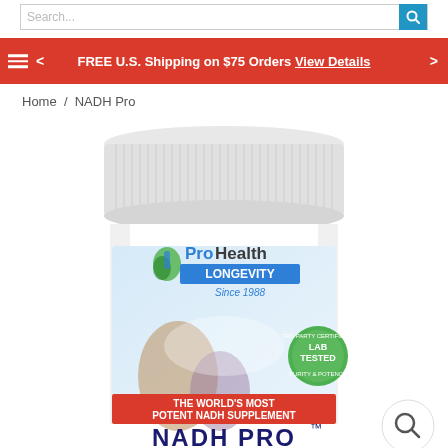Search...
FREE U.S. Shipping on $75 Orders View Details
Home / NADH Pro
[Figure (photo): ProHealth Longevity NADH Pro supplement bottle with white ribbed cap, ProHealth Longevity logo, 'Since 1988', LAB TESTED badge, red banner reading 'THE WORLD'S MOST POTENT NADH SUPPLEMENT', and NADH PRO text at bottom. A magnifying glass zoom button appears in the lower right.]